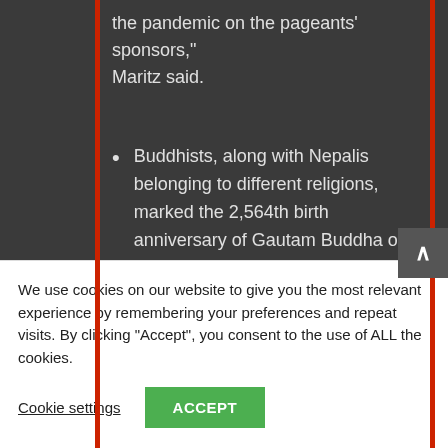the pandemic on the pageants' sponsors," Maritz said.
Buddhists, along with Nepalis belonging to different religions, marked the 2,564th birth anniversary of Gautam Buddha on Thursday amid restrictions imposed due to the Covid-19 pandemic. The Maya Devi Temple in Lumbini, the birthplace of the Buddha, was decorated with flowers on Wednesday. But
We use cookies on our website to give you the most relevant experience by remembering your preferences and repeat visits. By clicking “Accept”, you consent to the use of ALL the cookies.
Cookie settings   ACCEPT